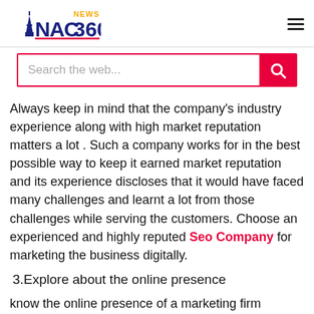NAC360 NEWS
Always keep in mind that the company's industry experience along with high market reputation matters a lot . Such a company works for in the best possible way to keep it earned market reputation and its experience discloses that it would have faced many challenges and learnt a lot from those challenges while serving the customers. Choose an experienced and highly reputed Seo Company for marketing the business digitally.
3.Explore about the online presence
know the online presence of a marketing firm discloses that it is very active and it keeps its clients engaged by updating its blog regularly. The blog comprises of high quality, informative content that makes the clients aware